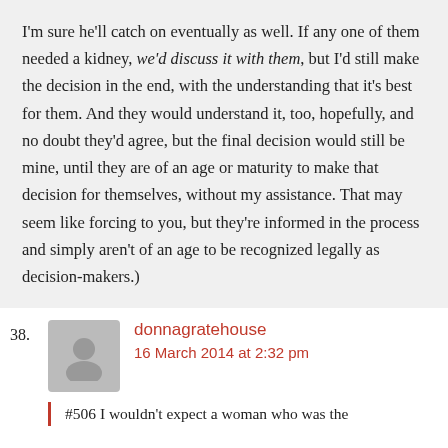I'm sure he'll catch on eventually as well. If any one of them needed a kidney, we'd discuss it with them, but I'd still make the decision in the end, with the understanding that it's best for them. And they would understand it, too, hopefully, and no doubt they'd agree, but the final decision would still be mine, until they are of an age or maturity to make that decision for themselves, without my assistance. That may seem like forcing to you, but they're informed in the process and simply aren't of an age to be recognized legally as decision-makers.)
38. donnagratehouse
16 March 2014 at 2:32 pm
#506 I wouldn't expect a woman who was the